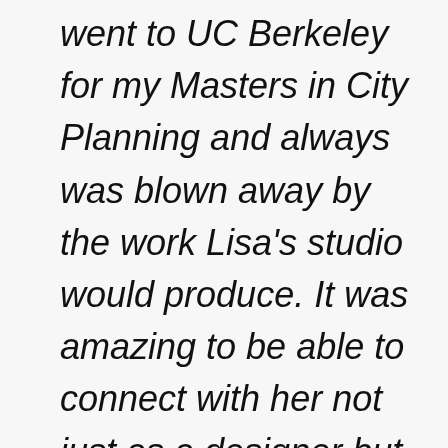went to UC Berkeley for my Masters in City Planning and always was blown away by the work Lisa's studio would produce. It was amazing to be able to connect with her not just as a designer but as business-owner to business-owner. Our interview has been edited for clarity and